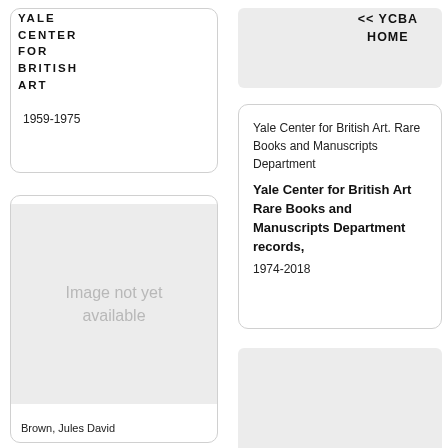YALE CENTER FOR BRITISH ART
<< YCBA HOME
1959-1975
[Figure (other): Image not yet available placeholder]
Brown, Jules David
Yale Center for British Art. Rare Books and Manuscripts Department
Yale Center for British Art Rare Books and Manuscripts Department records,
1974-2018